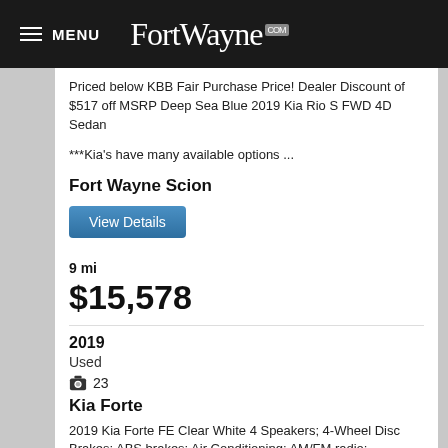MENU FortWayne.com
Priced below KBB Fair Purchase Price! Dealer Discount of $517 off MSRP Deep Sea Blue 2019 Kia Rio S FWD 4D Sedan
***Kia's have many available options ...
Fort Wayne Scion
View Details
9 mi
$15,578
2019
Used
23
Kia Forte
2019 Kia Forte FE Clear White 4 Speakers; 4-Wheel Disc Brakes; ABS brakes; Air Conditioning; AM/FM radio: SiriusXM;